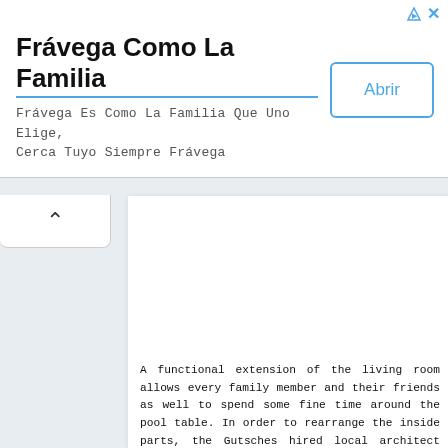Frávega Como La Familia
Frávega Es Como La Familia Que Uno Elige, Cerca Tuyo Siempre Frávega
Abrir
A functional extension of the living room allows every family member and their friends as well to spend some fine time around the pool table. In order to rearrange the inside parts, the Gutsches hired local architect Ketzel and Goodman. Fantastic beam barns on the ceiling warm the interior and add a